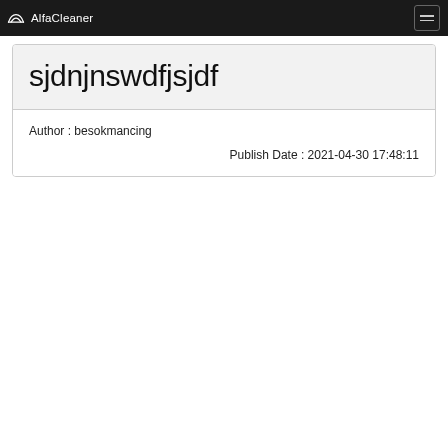AlfaCleaner
sjdnjnswdfjsjdf
Author : besokmancing
Publish Date : 2021-04-30 17:48:11